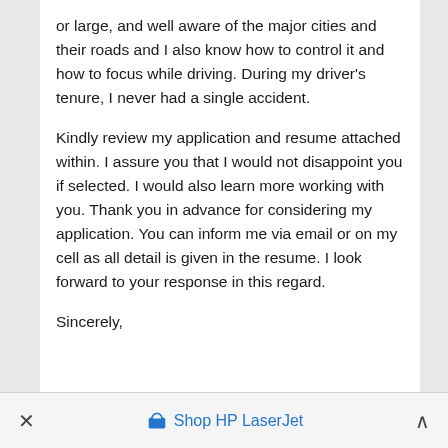or large, and well aware of the major cities and their roads and I also know how to control it and how to focus while driving. During my driver's tenure, I never had a single accident.

Kindly review my application and resume attached within. I assure you that I would not disappoint you if selected. I would also learn more working with you. Thank you in advance for considering my application. You can inform me via email or on my cell as all detail is given in the resume. I look forward to your response in this regard.

Sincerely,
✕   Shop HP LaserJet   ∧